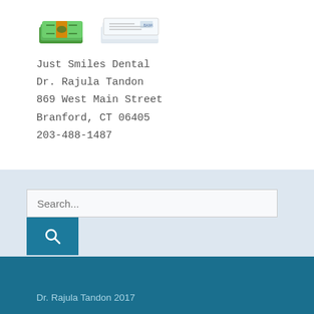[Figure (illustration): Two emoji-style icons: a stack of cash money bills with an orange band, and a stack of checks/bank cheques]
Just Smiles Dental
Dr. Rajula Tandon
869 West Main Street
Branford, CT 06405
203-488-1487
Search...
Dr. Rajula Tandon 2017